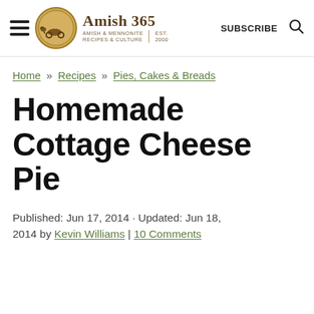Amish 365 — AMISH & MENNONITE RECIPES & CULTURE | EST. 2000 | SUBSCRIBE
Home » Recipes » Pies, Cakes & Breads
Homemade Cottage Cheese Pie
Published: Jun 17, 2014 · Updated: Jun 18, 2014 by Kevin Williams | 10 Comments